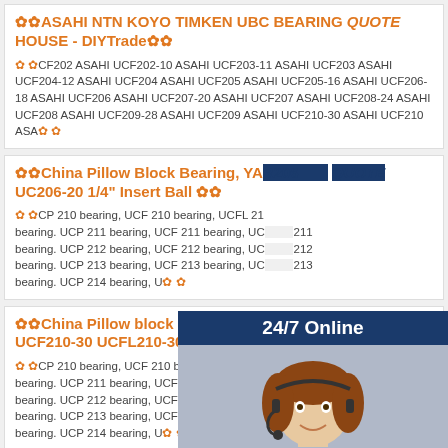✿✿ASAHI NTN KOYO TIMKEN UBC BEARING QUOTE HOUSE - DIYTrade✿✿
✿✿CF202 ASAHI UCF202-10 ASAHI UCF203-11 ASAHI UCF203 ASAHI UCF204-12 ASAHI UCF204 ASAHI UCF205 ASAHI UCF205-16 ASAHI UCF206-18 ASAHI UCF206 ASAHI UCF207-20 ASAHI UCF207 ASAHI UCF208-24 ASAHI UCF208 ASAHI UCF209-28 ASAHI UCF209 ASAHI UCF210-30 ASAHI UCF210 ASA✿✿
✿✿China Pillow Block Bearing, YAR206 QUOTE UC206-20 1/4" Insert Ball ✿✿
✿✿CP 210 bearing, UCF 210 bearing, UCFL 21... bearing. UCP 211 bearing, UCF 211 bearing, UC 211 bearing. UCP 212 bearing, UCF 212 bearing, UC 212 bearing. UCP 213 bearing, UCF 213 bearing, UC 213 bearing. UCP 214 bearing, U✿✿
✿✿China Pillow block bearing,UC UCF210-30 UCFL210-30 ✿✿ QUOTE
✿✿CP 210 bearing, UCF 210 bearing, UCFL 21... bearing. UCP 211 bearing, UCF 211 bearing, UC 211 bearing. UCP 212 bearing, UCF 212 bearing, UCFL 212 bearing, UCT212 bearing. UCP 213 bearing, UCF 213 bearing, UCFL 213 bearing, UCT213 bearing. UCP 214 bearing, U✿✿
[Figure (photo): Customer service representative (woman with headset) with 24/7 Online chat banner, 'Have any requests, click here.' text and Quotation button overlay]